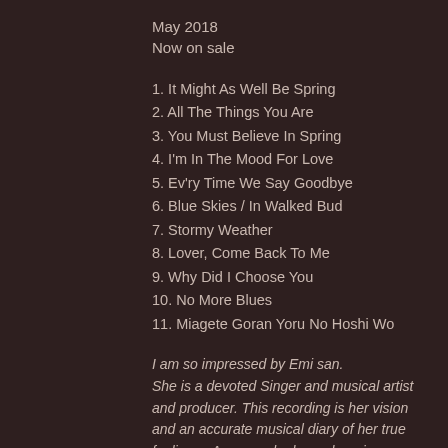May 2018
Now on sale
1. It Might As Well Be Spring
2. All The Things You Are
3. You Must Believe In Spring
4. I'm In The Mood For Love
5. Ev'ry Time We Say Goodbye
6. Blue Skies / In Walked Bud
7. Stormy Weather
8. Lover, Come Back To Me
9. Why Did I Choose You
10. No More Blues
11. Miagete Goran Yoru No Hoshi Wo
I am so impressed by Emi san. She is a devoted Singer and musical artist and producer. This recording is her vision and an accurate musical diary of her true feelings.  Anyone who hears her sing